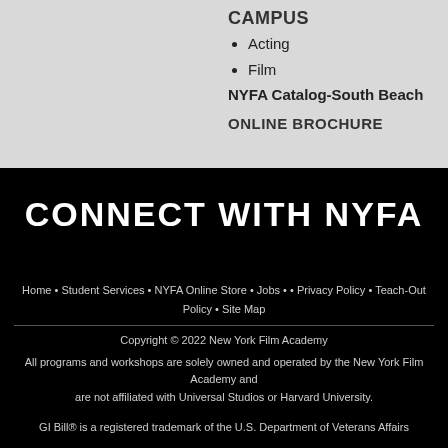CAMPUS
Acting
Film
NYFA Catalog-South Beach
ONLINE BROCHURE
CONNECT WITH NYFA
Home • Student Services • NYFA Online Store • Jobs • • Privacy Policy • Teach-Out Policy • Site Map
Copyright © 2022 New York Film Academy
All programs and workshops are solely owned and operated by the New York Film Academy and are not affiliated with Universal Studios or Harvard University.
GI Bill® is a registered trademark of the U.S. Department of Veterans Affairs (VA). More information about education benefits offered by VA is available at the official U.S. government Web site at www.benefits.va.gov/gibill.